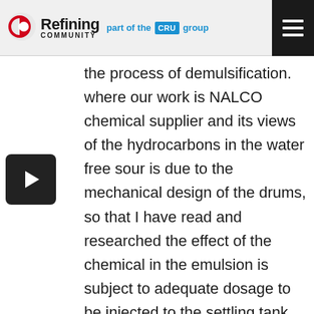Refining Community — part of the CRU group
[Figure (other): Video thumbnail with play button on left side]
the process of demulsification. where our work is NALCO chemical supplier and its views of the hydrocarbons in the water free sour is due to the mechanical design of the drums, so that I have read and researched the effect of the chemical in the emulsion is subject to adequate dosage to be injected to the settling tank and other factors such as oil viscosity, the residence time in the drums, well defined with